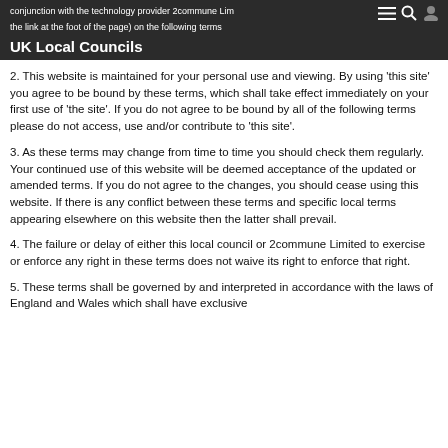UK Local Councils
conjunction with the technology provider 2commune Limited (use the link at the foot of the page) on the following terms
2. This website is maintained for your personal use and viewing. By using 'this site' you agree to be bound by these terms, which shall take effect immediately on your first use of 'the site'. If you do not agree to be bound by all of the following terms please do not access, use and/or contribute to 'this site'.
3. As these terms may change from time to time you should check them regularly. Your continued use of this website will be deemed acceptance of the updated or amended terms. If you do not agree to the changes, you should cease using this website. If there is any conflict between these terms and specific local terms appearing elsewhere on this website then the latter shall prevail.
4. The failure or delay of either this local council or 2commune Limited to exercise or enforce any right in these terms does not waive its right to enforce that right.
5. These terms shall be governed by and interpreted in accordance with the laws of England and Wales which shall have exclusive